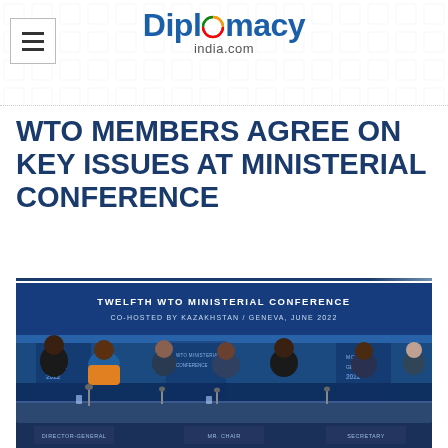Diplomacy india.com
WTO MEMBERS AGREE ON KEY ISSUES AT MINISTERIAL CONFERENCE
[Figure (photo): Photograph from the Twelfth WTO Ministerial Conference co-hosted by Kazakhstan / Geneva, June 2022. Shows several officials seated at a conference table with WTO MC12 Geneva 2022 branding on blue backdrop. Name plates visible at bottom including Director-General, Mr. Chair, and Secretary.]